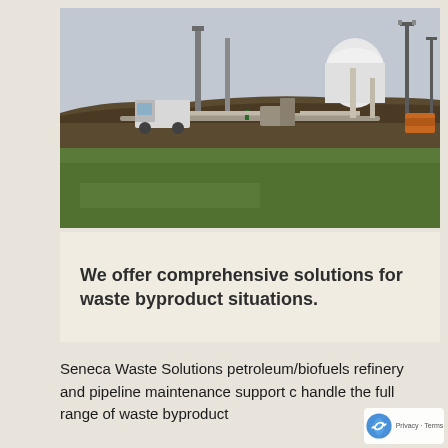[Figure (photo): Industrial waste or refinery site with trucks, pipes, and tanks visible against a grey sky, with green grass in the foreground and muddy earthworks in the middle ground.]
We offer comprehensive solutions for waste byproduct situations.
Seneca Waste Solutions petroleum/biofuels refinery and pipeline maintenance support c handle the full range of waste byproduct